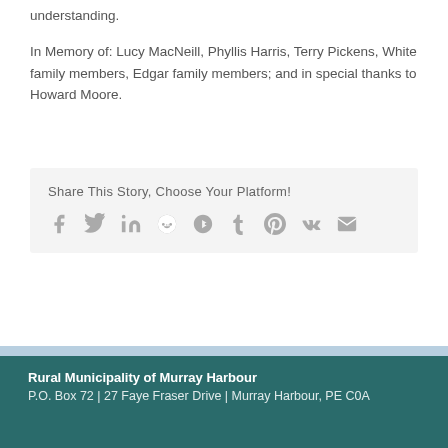understanding.
In Memory of: Lucy MacNeill, Phyllis Harris, Terry Pickens, White family members, Edgar family members; and in special thanks to Howard Moore.
Share This Story, Choose Your Platform!
[Figure (infographic): Social media sharing icons: Facebook, Twitter, LinkedIn, Reddit, Google+, Tumblr, Pinterest, VK, Email]
Rural Municipality of Murray Harbour
P.O. Box 72 | 27 Faye Fraser Drive | Murray Harbour, PE C0A